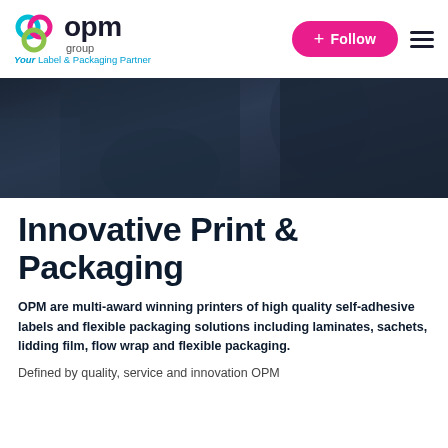[Figure (logo): OPM Group logo with colorful interlinked circles icon and text 'opm group — Your Label & Packaging Partner']
[Figure (photo): Dark moody photo of a person in dark clothing, partially cropped — hero banner image]
Innovative Print & Packaging
OPM are multi-award winning printers of high quality self-adhesive labels and flexible packaging solutions including laminates, sachets, lidding film, flow wrap and flexible packaging.
Defined by quality, service and innovation OPM